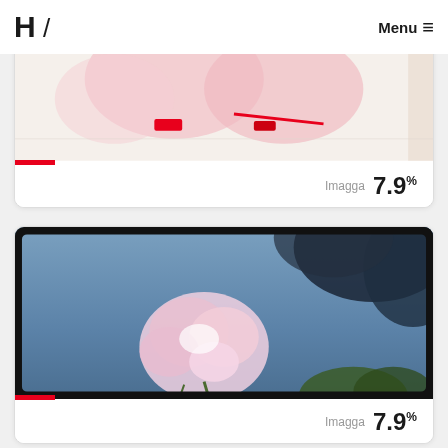H / Menu ≡
[Figure (photo): Close-up of a painting or artwork with pink floral shapes and red marks on white/cream background, partially cropped]
Imagga 7.9%
[Figure (photo): Photograph of pink flowers (phlox or similar) against a blue sky with dark blurred foliage in upper right, film-slide border effect with black rounded rectangle frame]
Imagga 7.9%